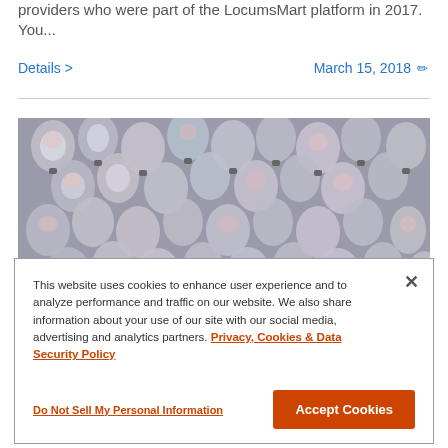providers who were part of the LocumsMArt platform in 2017. You...
Details >                March 15, 2018  ✏
[Figure (photo): Photograph of many light bulbs piled together, shot from above, showing bulbs in shades of white, grey, and pale pink.]
This website uses cookies to enhance user experience and to analyze performance and traffic on our website. We also share information about your use of our site with our social media, advertising and analytics partners. Privacy, Cookies & Data Security Policy
Do Not Sell My Personal Information   Accept Cookies